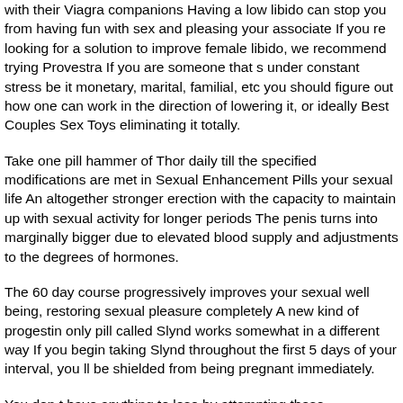with their Viagra companions Having a low libido can stop you from having fun with sex and pleasing your associate If you re looking for a solution to improve female libido, we recommend trying Provestra If you are someone that s under constant stress be it monetary, marital, familial, etc you should figure out how one can work in the direction of lowering it, or ideally Best Couples Sex Toys eliminating it totally.
Take one pill hammer of Thor daily till the specified modifications are met in Sexual Enhancement Pills your sexual life An altogether stronger erection with the capacity to maintain up with sexual activity for longer periods The penis turns into marginally bigger due to elevated blood supply and adjustments to the degrees of hormones.
The 60 day course progressively improves your sexual well being, restoring sexual pleasure completely A new kind of progestin only pill called Slynd works somewhat in a different way If you begin taking Slynd throughout the first 5 days of your interval, you ll be shielded from being pregnant immediately.
You don t have anything to lose by attempting these merchandise, and so they could produce unbelievable outcomes for your intercourse life Women typically have